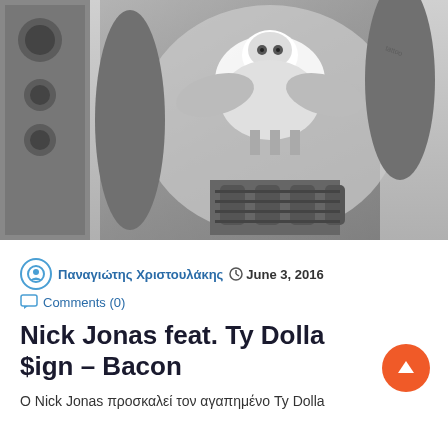[Figure (photo): Black and white photograph of a person wearing a t-shirt with an eagle graphic, showing tattooed arms, holding a microphone stand]
Παναγιώτης Χριστουλάκης  June 3, 2016  Comments (0)
Nick Jonas feat. Ty Dolla $ign – Bacon
Ο Nick Jonas προσκαλεί τον αγαπημένο Ty Dolla